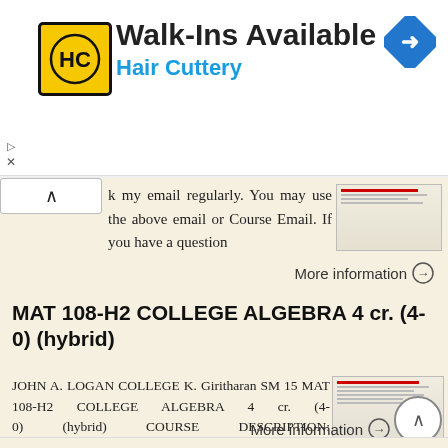[Figure (logo): Hair Cuttery advertisement banner with HC logo, 'Walk-Ins Available' heading, 'Hair Cuttery' subtitle in blue, and a navigation arrow icon]
k my email regularly. You may use the above email or Course Email. If you have a question
More information →
MAT 108-H2 COLLEGE ALGEBRA 4 cr. (4-0) (hybrid)
JOHN A. LOGAN COLLEGE K. Giritharan SM 15 MAT 108-H2 COLLEGE ALGEBRA 4 cr. (4-0) (hybrid) COURSE DESCRIPTION: College Algebra gives in-depth study of graphs of equations, functions, transformations, and
More information →